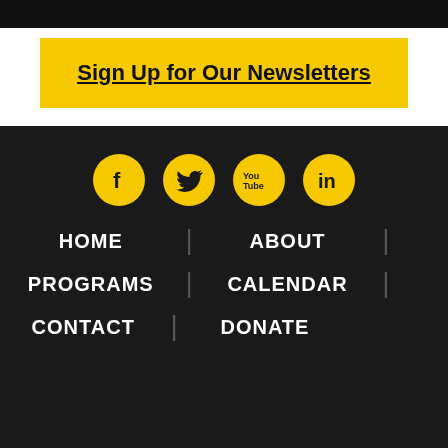[Figure (other): Black header bar at the top of the page]
Sign Up for Our Newsletters
[Figure (other): Social media icons row: Facebook, Twitter, YouTube, LinkedIn — yellow circles on dark background]
HOME
ABOUT
PROGRAMS
CALENDAR
CONTACT
DONATE